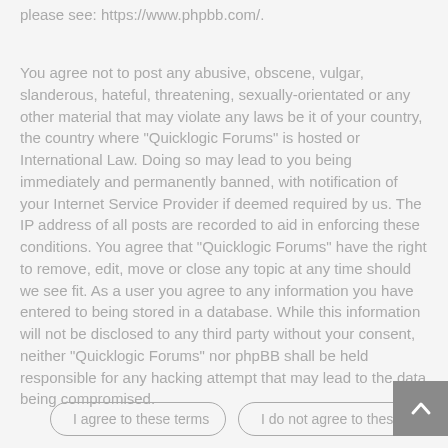please see: https://www.phpbb.com/.
You agree not to post any abusive, obscene, vulgar, slanderous, hateful, threatening, sexually-orientated or any other material that may violate any laws be it of your country, the country where "Quicklogic Forums" is hosted or International Law. Doing so may lead to you being immediately and permanently banned, with notification of your Internet Service Provider if deemed required by us. The IP address of all posts are recorded to aid in enforcing these conditions. You agree that "Quicklogic Forums" have the right to remove, edit, move or close any topic at any time should we see fit. As a user you agree to any information you have entered to being stored in a database. While this information will not be disclosed to any third party without your consent, neither "Quicklogic Forums" nor phpBB shall be held responsible for any hacking attempt that may lead to the data being compromised.
I agree to these terms
I do not agree to these terms